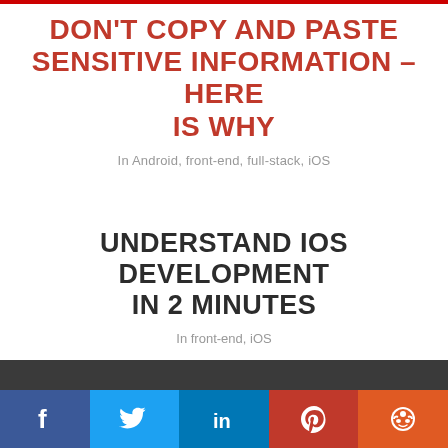DON'T COPY AND PASTE SENSITIVE INFORMATION – HERE IS WHY
In Android, front-end, full-stack, iOS
UNDERSTAND IOS DEVELOPMENT IN 2 MINUTES
In front-end, iOS